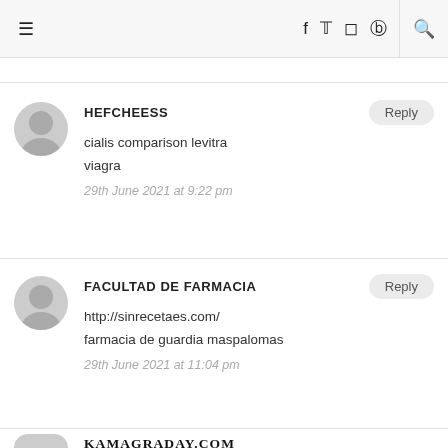≡  f  𝕥  🔷  𝕡  🔍
HEFCHEESS
cialis comparison levitra viagra
29th June 2021 at 9:22 pm
FACULTAD DE FARMACIA
http://sinrecetaes.com/
farmacia de guardia maspalomas
29th June 2021 at 11:04 pm
KAMAGRADAY.COM